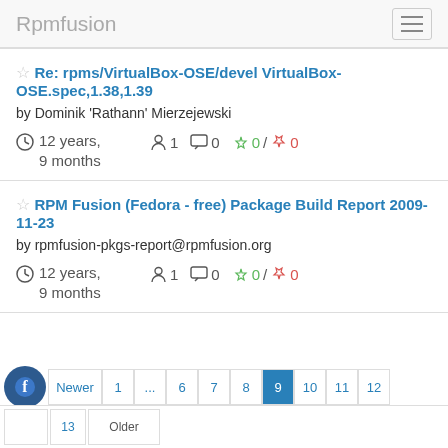Rpmfusion
Re: rpms/VirtualBox-OSE/devel VirtualBox-OSE.spec,1.38,1.39
by Dominik 'Rathann' Mierzejewski
12 years, 9 months  1  0  0 / 0
RPM Fusion (Fedora - free) Package Build Report 2009-11-23
by rpmfusion-pkgs-report@rpmfusion.org
12 years, 9 months  1  0  0 / 0
Newer 1 ... 6 7 8 9 10 11 12